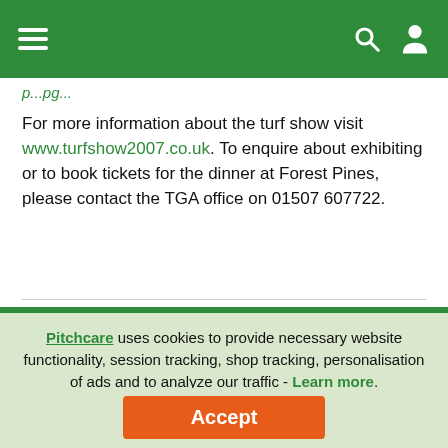Navigation bar with hamburger menu, search icon, and user icon
p...pg...
For more information about the turf show visit www.turfshow2007.co.uk. To enquire about exhibiting or to book tickets for the dinner at Forest Pines, please contact the TGA office on 01507 607722.
Pitchcare uses cookies to provide necessary website functionality, session tracking, shop tracking, personalisation of ads and to analyze our traffic - Learn more. By using our website, you agree to our Privacy Policy and our cookies usage.
Accept